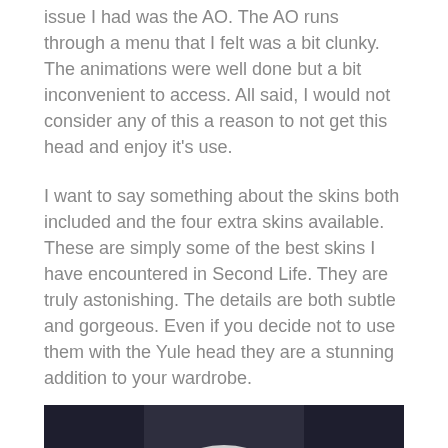issue I had was the AO. The AO runs through a menu that I felt was a bit clunky. The animations were well done but a bit inconvenient to access. All said, I would not consider any of this a reason to not get this head and enjoy it's use.
I want to say something about the skins both included and the four extra skins available. These are simply some of the best skins I have encountered in Second Life. They are truly astonishing. The details are both subtle and gorgeous. Even if you decide not to use them with the Yule head they are a stunning addition to your wardrobe.
[Figure (photo): A Second Life avatar with white/silver spiky hair covering most of the face, dark skin, pointed elf-like ears, wearing dark clothing. The background is dark gray-blue. The image has a teal/cyan horizontal bar across the lower portion.]